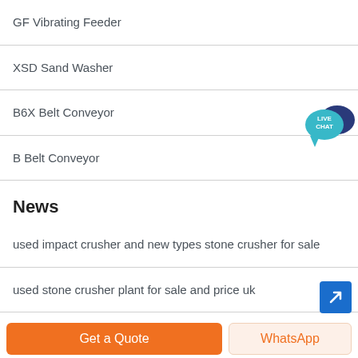GF Vibrating Feeder
XSD Sand Washer
B6X Belt Conveyor
B Belt Conveyor
News
used impact crusher and new types stone crusher for sale
used stone crusher plant for sale and price uk
stone crushing equipment pf impact crusher for sale
complete used crusher for sale in uk and ireland stone crusher machine